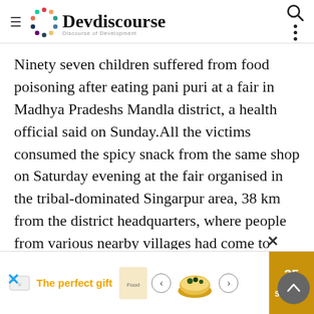Devdiscourse — Discourse of Development
Ninety seven children suffered from food poisoning after eating pani puri at a fair in Madhya Pradeshs Mandla district, a health official said on Sunday.All the victims consumed the spicy snack from the same shop on Saturday evening at the fair organised in the tribal-dominated Singarpur area, 38 km from the district headquarters, where people from various nearby villages had come to make purchases, he said.Around 7.30 pm, the children complained of vomiting and stomach pain, the district hospitals civil surgeon, Dr K R Shakya, told PTI.Ninety seven children have been admitted to the district hospital